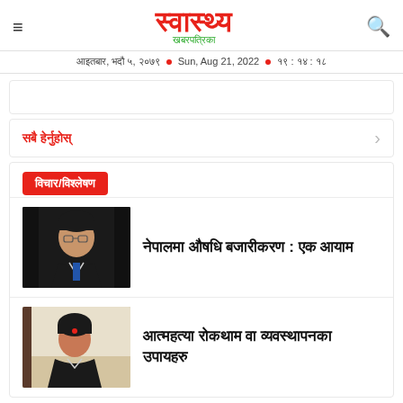स्वास्थ्य खबरपत्रिका — आइतबार, भदौ ५, २०७९ • Sun, Aug 21, 2022 • १९ : १४ : १८
सबै हेर्नुहोस्
विचार/विश्लेषण
नेपालमा औषधि बजारीकरण : एक आयाम
[Figure (photo): Portrait photo of a man in a suit and tie on dark background]
आत्महत्या रोकथाम वा व्यवस्थापनका उपायहरु
[Figure (photo): Portrait photo of a woman in professional attire]